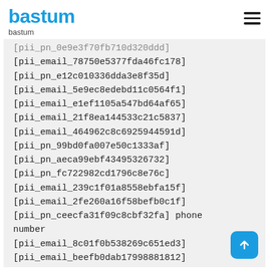bastum
bastum
[pii_pn_0e9e3f70fb710d320ddd]
[pii_email_78750e5377fda46fc178]
[pii_pn_e12c010336dda3e8f35d]
[pii_email_5e9ec8edebd11c0564f1]
[pii_email_e1ef1105a547bd64af65]
[pii_email_21f8ea144533c21c5837]
[pii_email_464962c8c6925944591d]
[pii_pn_99bd0fa007e50c1333af]
[pii_pn_aeca99ebf43495326732]
[pii_pn_fc722982cd1796c8e76c]
[pii_email_239c1f01a8558ebfa15f]
[pii_email_2fe260a16f58befb0c1f]
[pii_pn_ceecfa31f09c8cbf32fa] phone number
[pii_email_8c01f0b538269c651ed3]
[pii_email_beefb0dab17998881812]